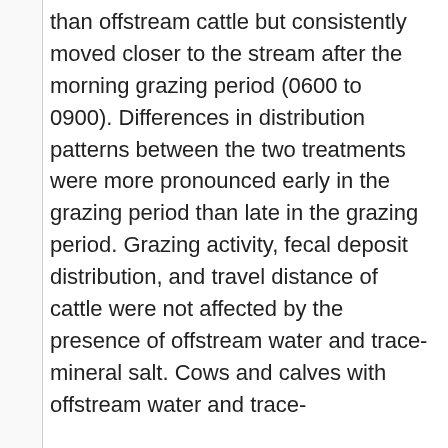than offstream cattle but consistently moved closer to the stream after the morning grazing period (0600 to 0900). Differences in distribution patterns between the two treatments were more pronounced early in the grazing period than late in the grazing period. Grazing activity, fecal deposit distribution, and travel distance of cattle were not affected by the presence of offstream water and trace-mineral salt. Cows and calves with offstream water and trace-